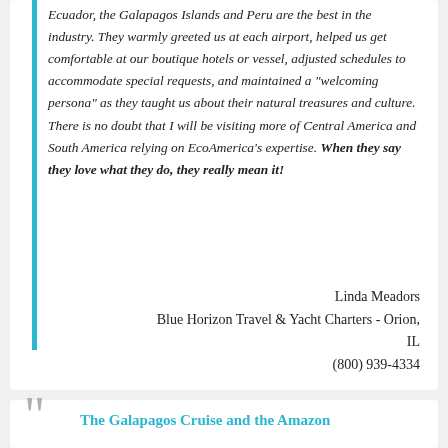Ecuador, the Galapagos Islands and Peru are the best in the industry. They warmly greeted us at each airport, helped us get comfortable at our boutique hotels or vessel, adjusted schedules to accommodate special requests, and maintained a "welcoming persona" as they taught us about their natural treasures and culture. There is no doubt that I will be visiting more of Central America and South America relying on EcoAmerica's expertise. When they say they love what they do, they really mean it!
Linda Meadors
Blue Horizon Travel & Yacht Charters - Orion, IL
(800) 939-4334
The Galapagos Cruise and the Amazon